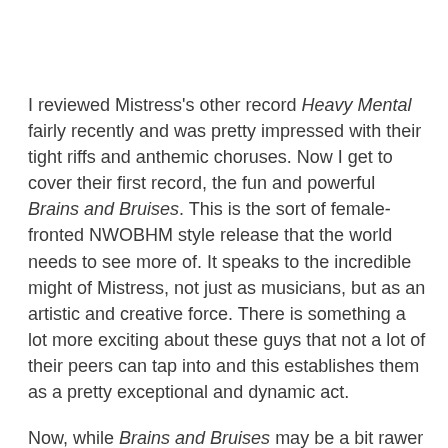I reviewed Mistress's other record Heavy Mental fairly recently and was pretty impressed with their tight riffs and anthemic choruses. Now I get to cover their first record, the fun and powerful Brains and Bruises. This is the sort of female-fronted NWOBHM style release that the world needs to see more of. It speaks to the incredible might of Mistress, not just as musicians, but as an artistic and creative force. There is something a lot more exciting about these guys that not a lot of their peers can tap into and this establishes them as a pretty exceptional and dynamic act.
Now, while Brains and Bruises may be a bit rawer than the bands later stuff, this is still pretty exciting and tight rock and roll music. Deanna Gardas, or as she is affectionately known, "Babe Mustaine" has quite the voice, and her pipes are really allowed to shine on Brains and Bruises. Meanwhile, the songwriting is very tight, and its clear that the band has a wealth of experience behind them. Mo...